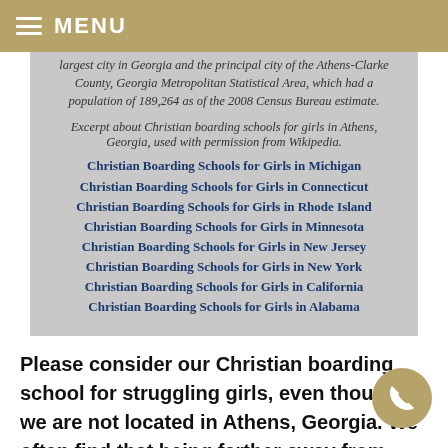MENU
largest city in Georgia and the principal city of the Athens-Clarke County, Georgia Metropolitan Statistical Area, which had a population of 189,264 as of the 2008 Census Bureau estimate.
Excerpt about Christian boarding schools for girls in Athens, Georgia, used with permission from Wikipedia.
Christian Boarding Schools for Girls in Michigan
Christian Boarding Schools for Girls in Connecticut
Christian Boarding Schools for Girls in Rhode Island
Christian Boarding Schools for Girls in Minnesota
Christian Boarding Schools for Girls in New Jersey
Christian Boarding Schools for Girls in New York
Christian Boarding Schools for Girls in California
Christian Boarding Schools for Girls in Alabama
Please consider our Christian boarding school for struggling girls, even though we are not located in Athens, Georgia. We often find that being farther away from home is a plus when a girl is getting the helps she needs, can focus on healing far away from her peers.